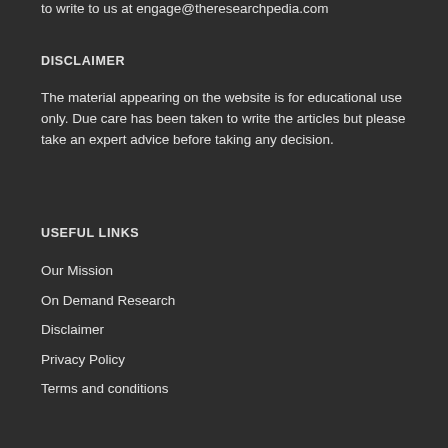to write to us at engage@theresearchpedia.com
DISCLAIMER
The material appearing on the website is for educational use only. Due care has been taken to write the articles but please take an expert advice before taking any decision.
USEFUL LINKS
Our Mission
On Demand Research
Disclaimer
Privacy Policy
Terms and conditions